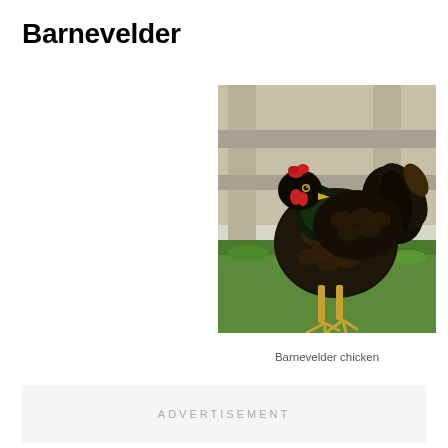Barnevelder
[Figure (photo): A Barnevelder chicken with dark brown and black feathered plumage standing on green grass in front of a wooden fence]
Barnevelder chicken
ADVERTISEMENT